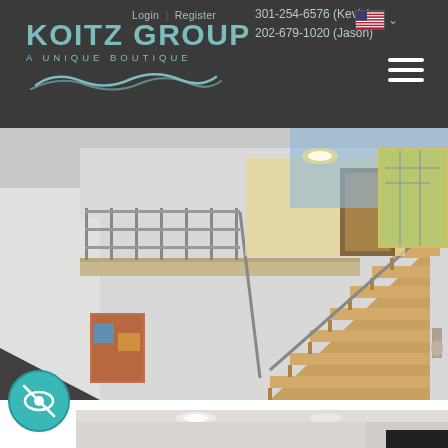Login | Register | 301-254-6576 (Kevin) | 202-679-1020 (Jason) | KOITZ GROUP A UNIQUE BOUTIQUE
[Figure (photo): Interior photo of a modern home showing wooden staircase with metal railing leading to an upper mezzanine level, white walls, and colorful artwork]
[Figure (photo): Partial view of a second interior photo showing a bright room with ceiling lights]